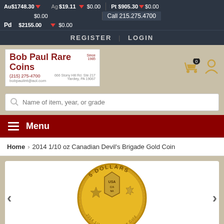Au$1748.30 ▼ Ag $19.11 ▼ $0.00 Pt $905.30 ▼ $0.00 $0.00 Pd $2155.00 ▼ $0.00 Call 215.275.4700
REGISTER LOGIN
[Figure (logo): Bob Paul Rare Coins logo with address: (215) 275-4700, bobpaulint@aol.com, 666 Stony Hill Rd. Ste 217, Yardley, PA 19067, Since 1985]
Name of item, year, or grade
Menu
Home > 2014 1/10 oz Canadian Devil's Brigade Gold Coin
[Figure (photo): Gold coin showing '5 DOLLARS' with USA/CANADA insignia and star/maple leaf designs, 2014 1/10 oz Canadian Devil's Brigade Gold Coin]